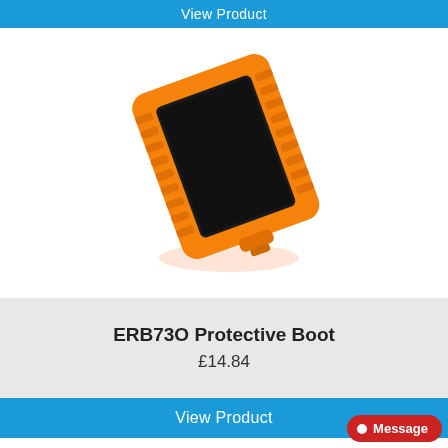View Product
[Figure (photo): Orange protective boot case for a rectangular device (ERB73O), shown at an angle with ribbed orange rubber surround and black face, propped up on a small stand]
ERB73O Protective Boot
£14.84
View Product
Message